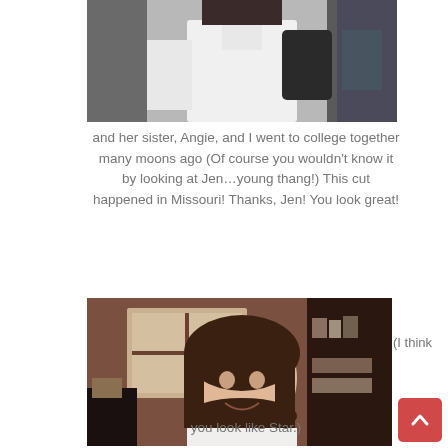[Figure (photo): Top portion of a photo showing a woman in a white button-up shirt, partially cropped at top]
and her sister, Angie, and I went to college together many moons ago (Of course you wouldn't know it by looking at Jen…young thang!) This cut happened in Missouri! Thanks, Jen! You look great!
[Figure (photo): Photo of a woman with short dark brown bob haircut, smiling, in an indoor setting that looks like a bookstore or shop, wearing a white top]
(I think you look like Star.)